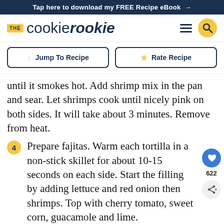Tap here to download my FREE Recipe eBook →
[Figure (logo): The Cookie Rookie logo with hamburger menu and search icon]
Jump To Recipe
Rate Recipe
until it smokes hot. Add shrimp mix in the pan and sear. Let shrimps cook until nicely pink on both sides. It will take about 3 minutes. Remove from heat.
4 Prepare fajitas. Warm each tortilla in a non-stick skillet for about 10-15 seconds on each side. Start the filling by adding lettuce and red onion then shrimps. Top with cherry tomato, sweet corn, guacamole and lime.
5 Serve immediately.